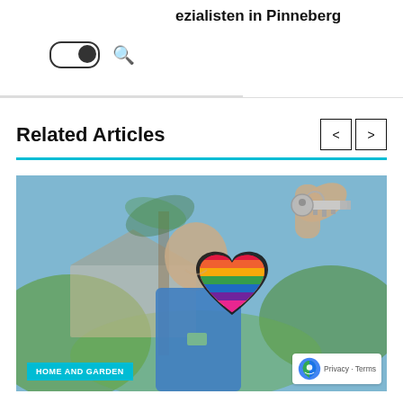ezialisten in Pinneberg
Related Articles
[Figure (photo): A person in a blue uniform holding up a house key with a rainbow pride heart keychain, outdoors in front of a house]
HOME AND GARDEN